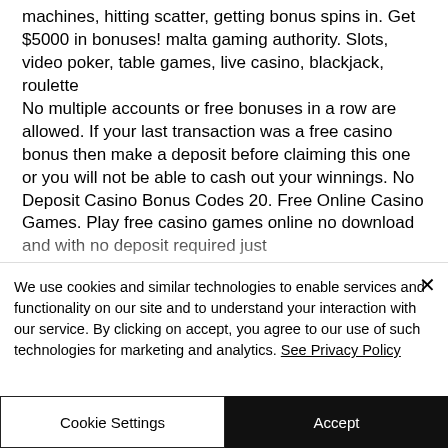machines, hitting scatter, getting bonus spins in. Get $5000 in bonuses! malta gaming authority. Slots, video poker, table games, live casino, blackjack, roulette
No multiple accounts or free bonuses in a row are allowed. If your last transaction was a free casino bonus then make a deposit before claiming this one or you will not be able to cash out your winnings. No Deposit Casino Bonus Codes 20. Free Online Casino Games. Play free casino games online no download and with no deposit required just for fun 100 free casino slots
We use cookies and similar technologies to enable services and functionality on our site and to understand your interaction with our service. By clicking on accept, you agree to our use of such technologies for marketing and analytics. See Privacy Policy